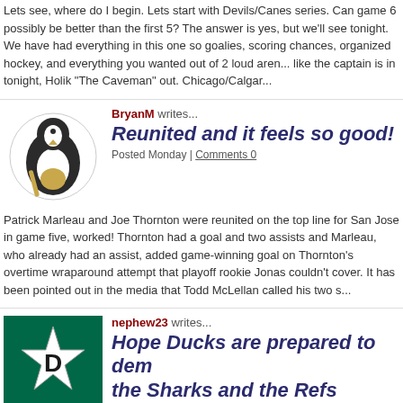Lets see, where do I begin. Lets start with Devils/Canes series. Can game 6 possibly be better than the first 5? The answer is yes, but we'll see tonight. We have had everything in this one so far, battered goalies, scoring chances, organized hockey, and everything you wanted out of 2 loud arenas. Looks like the captain is in tonight, Holik "The Caveman" out. Chicago/Calgar...
[Figure (logo): Pittsburgh Penguins logo]
BryanM writes...
Reunited and it feels so good!
Posted Monday | Comments 0
Patrick Marleau and Joe Thornton were reunited on the top line for San Jose in game five, and it worked! Thornton had a goal and two assists and Marleau, who already had an assist, added the game-winning goal on Thornton's overtime wraparound attempt that playoff rookie Jonas couldn't cover. It has been pointed out in the media that Todd McLellan called his two s...
[Figure (logo): Dallas Stars logo]
nephew23 writes...
Hope Ducks are prepared to deal with the Sharks and the Refs
Posted Monday | Comments 0
Gonna be a long night since its obvious the league is really "hoping" for a game 7. Three p the first 10 minutes. The directive has been issued! Ducks better really play smart and strong that 4 -2 . . . Oops! Looks like the Ducks were prepared. But its far from over. I can hear B screaming from here!